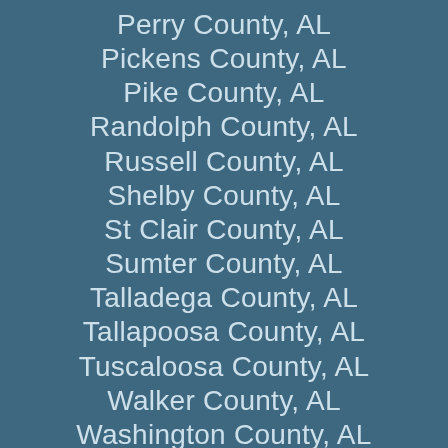Perry County, AL
Pickens County, AL
Pike County, AL
Randolph County, AL
Russell County, AL
Shelby County, AL
St Clair County, AL
Sumter County, AL
Talladega County, AL
Tallapoosa County, AL
Tuscaloosa County, AL
Walker County, AL
Washington County, AL
Wilcox County, AL
Winston County, AL